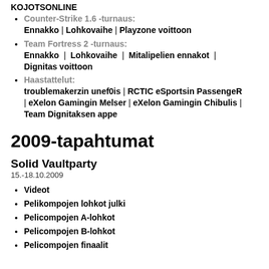KOJOTSONLINE
Counter-Strike 1.6 -turnaus: Ennakko | Lohkovaihe | Playzone voittoon
Team Fortress 2 -turnaus: Ennakko | Lohkovaihe | Mitalipelien ennakot | Dignitas voittoon
Haastattelut: troublemakerzin unef0is | RCTIC eSportsin PassengeR | eXelon Gamingin Melser | eXelon Gamingin Chibulis | Team Dignitaksen appe
2009-tapahtumat
Solid Vaultparty
15.-18.10.2009
Videot
Pelikompojen lohkot julki
Pelicompojen A-lohkot
Pelicompojen B-lohkot
Pelicompojen finaalit